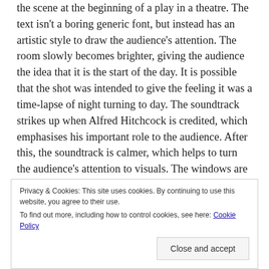the scene at the beginning of a play in a theatre. The text isn't a boring generic font, but instead has an artistic style to draw the audience's attention. The room slowly becomes brighter, giving the audience the idea that it is the start of the day. It is possible that the shot was intended to give the feeling it was a time-lapse of night turning to day. The soundtrack strikes up when Alfred Hitchcock is credited, which emphasises his important role to the audience. After this, the soundtrack is calmer, which helps to turn the audience's attention to visuals. The windows are open; this signifies that it's hot. The shot of the apartments brings the audience a sense of
Privacy & Cookies: This site uses cookies. By continuing to use this website, you agree to their use.
To find out more, including how to control cookies, see here: Cookie Policy